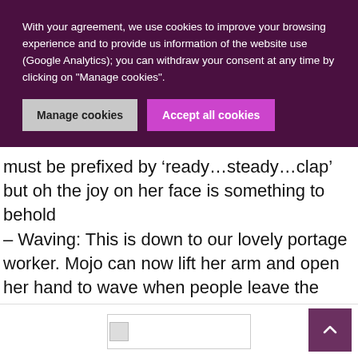With your agreement, we use cookies to improve your browsing experience and to provide us information of the website use (Google Analytics); you can withdraw your consent at any time by clicking on "Manage cookies".
Manage cookies | Accept all cookies
must be prefixed by ‘ready…steady…clap’ but oh the joy on her face is something to behold
– Waving: This is down to our lovely portage worker. Mojo can now lift her arm and open her hand to wave when people leave the house. Again she LOVES to do it not least because she gets the kind of reaction usually reserved for a balcony kiss at a royal wedding.
[Figure (photo): Small thumbnail image placeholder in the footer bar]